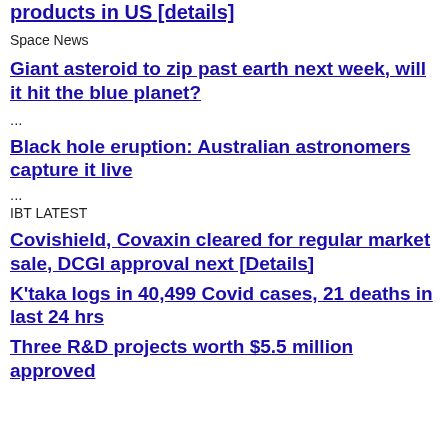products in US [details]
Space News
Giant asteroid to zip past earth next week, will it hit the blue planet?
...
Black hole eruption: Australian astronomers capture it live
...
IBT LATEST
Covishield, Covaxin cleared for regular market sale, DCGI approval next [Details]
K'taka logs in 40,499 Covid cases, 21 deaths in last 24 hrs
Three R&D projects worth $5.5 million approved